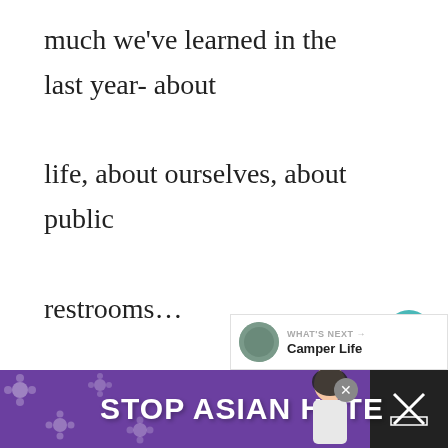much we've learned in the last year- about life, about ourselves, about public restrooms… Full time travel is amazing…and also, as it turns out, difficult. Considering a life of full time travel? In honor of our one year travelversary here is our roundup of
[Figure (screenshot): Social share sidebar with heart/like button (teal circle, count=1) and share button]
[Figure (infographic): What's Next panel: thumbnail image, label WHAT'S NEXT with arrow, title Camper Life]
[Figure (infographic): Stop Asian Hate advertisement banner with purple background, white flower decorations, bold white text STOP ASIAN HATE, anime-style figure, close button X]